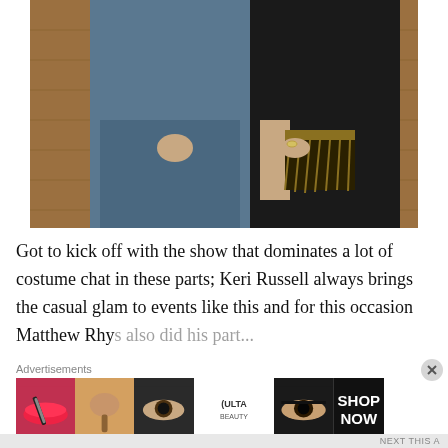[Figure (photo): Photo showing the lower bodies of two people standing side by side on a wooden floor. Left person wears a blue-grey suit. Right person wears a black outfit and holds a gold/black clutch bag with ringed fingers visible.]
Got to kick off with the show that dominates a lot of costume chat in these parts; Keri Russell always brings the casual glam to events like this and for this occasion Matthew Rhys also did his part...
Advertisements
[Figure (photo): Ulta Beauty advertisement banner showing makeup images: red lips with brush, powder brush, eye with makeup, Ulta logo, dramatic eye makeup, with SHOP NOW text.]